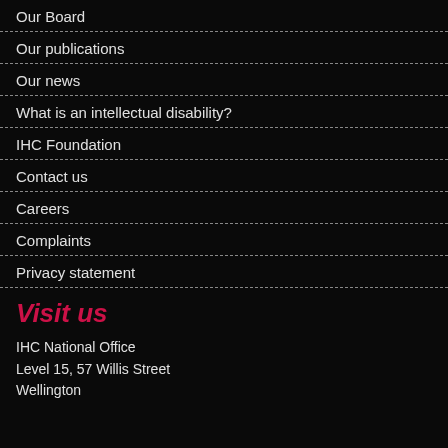Our Board
Our publications
Our news
What is an intellectual disability?
IHC Foundation
Contact us
Careers
Complaints
Privacy statement
Visit us
IHC National Office
Level 15,  57 Willis Street
Wellington